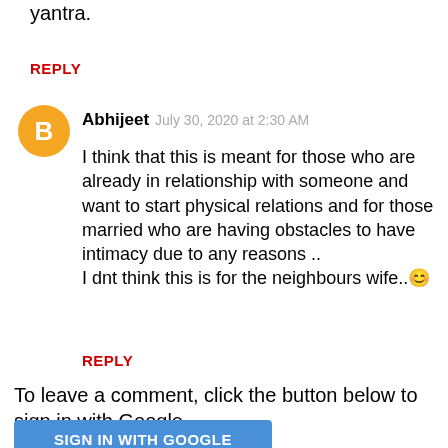I don't understand the reading for this yantra.
REPLY
[Figure (illustration): Orange circular avatar with white blogger 'B' logo]
Abhijeet   July 30, 2020 at 2:30 AM
I think that this is meant for those who are already in relationship with someone and want to start physical relations and for those married who are having obstacles to have intimacy due to any reasons ..
I dnt think this is for the neighbours wife..😊
REPLY
To leave a comment, click the button below to sign in with Google.
SIGN IN WITH GOOGLE